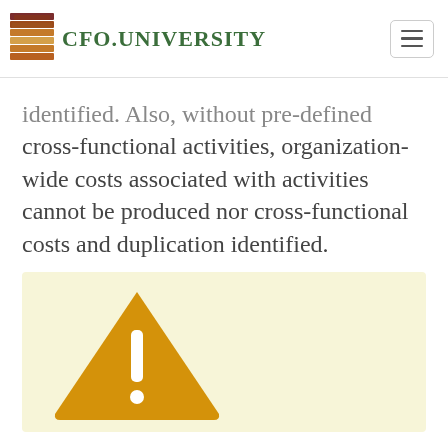CFO.UNIVERSITY
identified. Also, without pre-defined cross-functional activities, organization-wide costs associated with activities cannot be produced nor cross-functional costs and duplication identified.
[Figure (infographic): Warning/alert icon: yellow triangle with exclamation mark on a light yellow background]